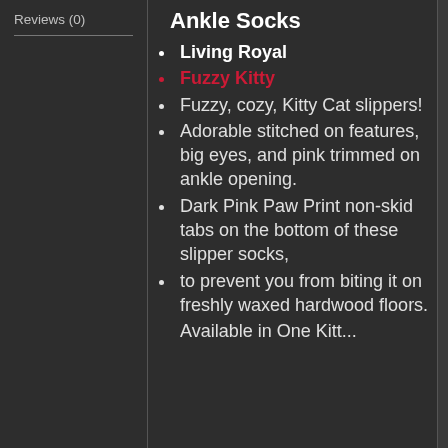Reviews (0)
Ankle Socks
Living Royal
Fuzzy Kitty
Fuzzy, cozy, Kitty Cat slippers!
Adorable stitched on features, big eyes, and pink trimmed on ankle opening.
Dark Pink Paw Print non-skid tabs on the bottom of these slipper socks,
to prevent you from biting it on freshly waxed hardwood floors.
Available in One Kitt...